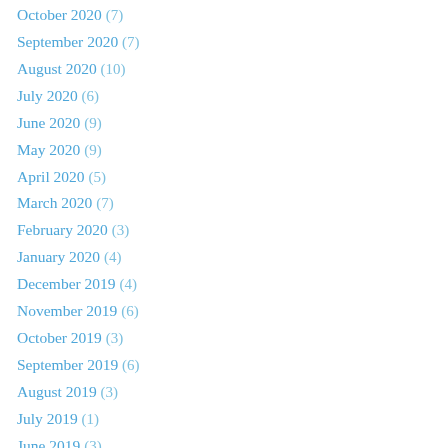October 2020 (7)
September 2020 (7)
August 2020 (10)
July 2020 (6)
June 2020 (9)
May 2020 (9)
April 2020 (5)
March 2020 (7)
February 2020 (3)
January 2020 (4)
December 2019 (4)
November 2019 (6)
October 2019 (3)
September 2019 (6)
August 2019 (3)
July 2019 (1)
June 2019 (3)
May 2019 (2)
April 2019 (2)
March 2019 (2)